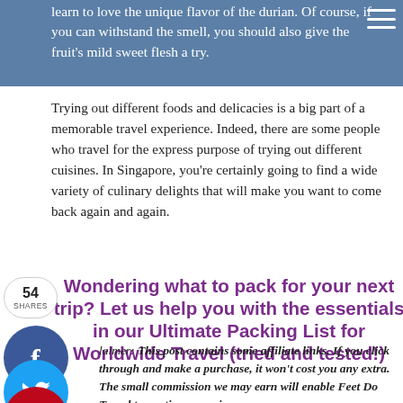learn to love the unique flavor of the durian. Of course, if you can withstand the smell, you should also give the fruit's mild sweet flesh a try.
Trying out different foods and delicacies is a big part of a memorable travel experience. Indeed, there are some people who travel for the express purpose of trying out different cuisines. In Singapore, you're certainly going to find a wide variety of culinary delights that will make you want to come back again and again.
Wondering what to pack for your next trip? Let us help you with the essentials in our Ultimate Packing List for Worldwide Travel (tried and tested!)
Disclaimer: This post contains some affiliate links. If you click through and make a purchase, it won't cost you any extra. The small commission we may earn will enable Feet Do Travel to continue running.